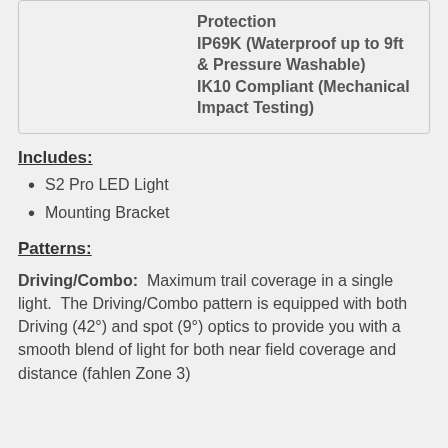|  | Protection
IP69K (Waterproof up to 9ft & Pressure Washable)
IK10 Compliant (Mechanical Impact Testing) |
Includes:
S2 Pro LED Light
Mounting Bracket
Patterns:
Driving/Combo:  Maximum trail coverage in a single light.  The Driving/Combo pattern is equipped with both Driving (42°) and spot (9°) optics to provide you with a smooth blend of light for both near field coverage and distance (fahren Zone 3)